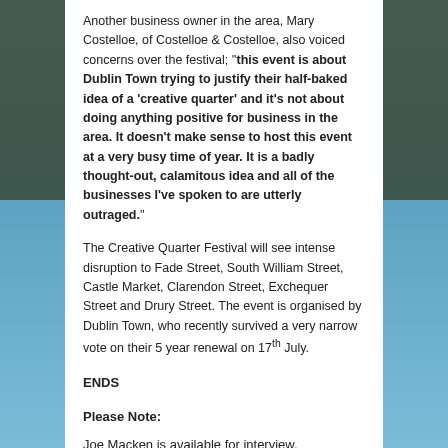Another business owner in the area, Mary Costelloe, of Costelloe & Costelloe, also voiced concerns over the festival; ''this event is about Dublin Town trying to justify their half-baked idea of a 'creative quarter' and it's not about doing anything positive for business in the area. It doesn't make sense to host this event at a very busy time of year. It is a badly thought-out, calamitous idea and all of the businesses I've spoken to are utterly outraged.''
The Creative Quarter Festival will see intense disruption to Fade Street, South William Street, Castle Market, Clarendon Street, Exchequer Street and Drury Street. The event is organised by Dublin Town, who recently survived a very narrow vote on their 5 year renewal on 17th July.
ENDS
Please Note:
Joe Macken is available for interview.